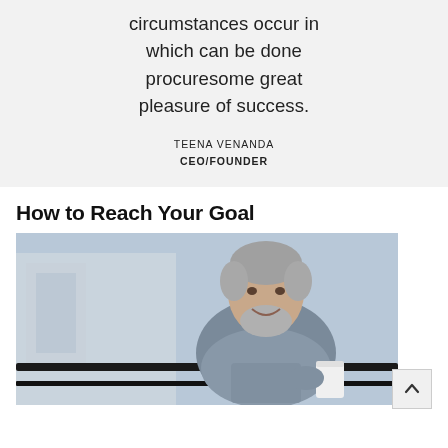circumstances occur in which can be done procuresome great pleasure of success.
TEENA VENANDA
CEO/FOUNDER
How to Reach Your Goal
[Figure (photo): Photo of a middle-aged man with gray hair and beard, smiling, wearing a light blue shirt, holding a white cup, in an outdoor/urban setting.]